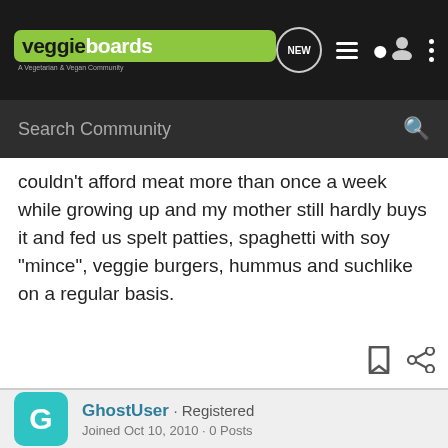veggieboards · A Vegetarian & Vegan Community
couldn't afford meat more than once a week while growing up and my mother still hardly buys it and fed us spelt patties, spaghetti with soy "mince", veggie burgers, hummus and suchlike on a regular basis.
GhostUser · Registered
Joined Oct 10, 2010 · 0 Posts
#20 · Sep 24, 2006
I think its stupid.
Meat eaters just want a way of feeling less guilty withoout